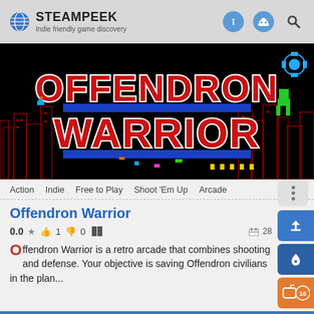STEAMPEEK Indie friendly game discovery
[Figure (screenshot): Offendron Warrior game title screen - retro arcade game with red and blue pixelated text reading OFFENDRON WARRIOR on a black background with pixel art characters and city silhouettes]
Action  Indie  Free to Play  Shoot 'Em Up  Arcade
Offendron Warrior
0.0 ★  👍 1  👎 0  🪟   28
Offendron Warrior is a retro arcade that combines shooting and defense. Your objective is saving Offendron civilians in the plan...